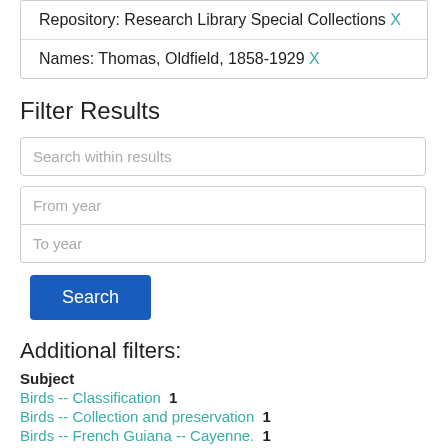Repository: Research Library Special Collections X
Names: Thomas, Oldfield, 1858-1929 X
Filter Results
Search within results
From year
To year
Search
Additional filters:
Subject
Birds -- Classification  1
Birds -- Collection and preservation  1
Birds -- French Guiana -- Cayenne.  1